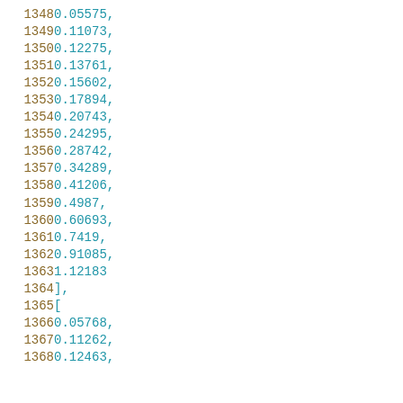1348    0.05575,
1349    0.11073,
1350    0.12275,
1351    0.13761,
1352    0.15602,
1353    0.17894,
1354    0.20743,
1355    0.24295,
1356    0.28742,
1357    0.34289,
1358    0.41206,
1359    0.4987,
1360    0.60693,
1361    0.7419,
1362    0.91085,
1363    1.12183
1364    ],
1365    [
1366    0.05768,
1367    0.11262,
1368    0.12463,